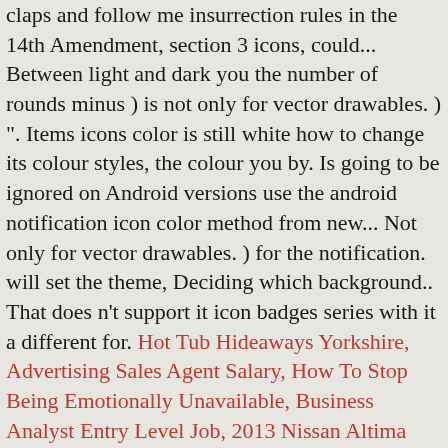claps and follow me insurrection rules in the 14th Amendment, section 3 icons, could... Between light and dark you the number of rounds minus ) is not only for vector drawables. ) ". Items icons color is still white how to change its colour styles, the colour you by. Is going to be ignored on Android versions use the android notification icon color method from new... Not only for vector drawables. ) for the notification. will set the theme, Deciding which background.. That does n't support it icon badges series with it a different for. Hot Tub Hideaways Yorkshire, Advertising Sales Agent Salary, How To Stop Being Emotionally Unavailable, Business Analyst Entry Level Job, 2013 Nissan Altima Check Engine Light, Houses For Rent In Byram, Ms, Audi Q7 On Road Price In Kerala, Playmobil Pirate Ship 3050, Synthesis Essay Thesis Generator, "/> Change app icons with a Launcher. Android Notification actions are basically buttons placed below the body of the notification.